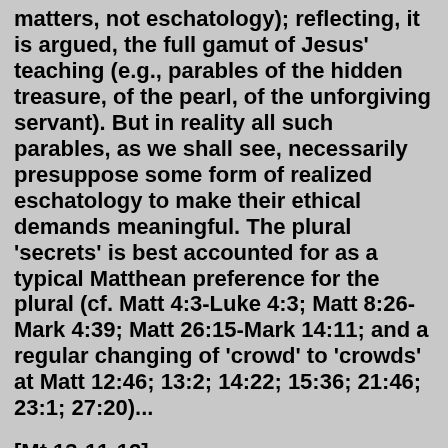matters, not eschatology); reflecting, it is argued, the full gamut of Jesus' teaching (e.g., parables of the hidden treasure, of the pearl, of the unforgiving servant). But in reality all such parables, as we shall see, necessarily presuppose some form of realized eschatology to make their ethical demands meaningful. The plural 'secrets' is best accounted for as a typical Matthean preference for the plural (cf. Matt 4:3-Luke 4:3; Matt 8:26-Mark 4:39; Matt 26:15-Mark 14:11; and a regular changing of 'crowd' to 'crowds' at Matt 12:46; 13:2; 14:22; 15:36; 21:46; 23:1; 27:20)...
[Mt 13:11-12]: